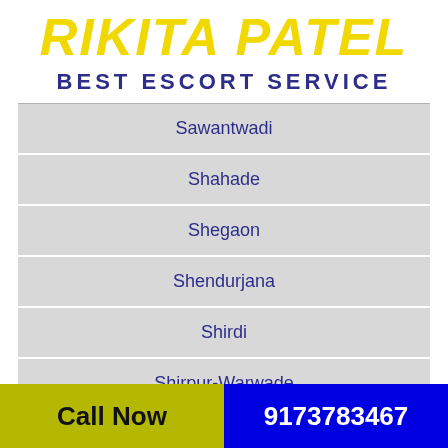RIKITA PATEL
BEST ESCORT SERVICE
Sawantwadi
Shahade
Shegaon
Shendurjana
Shirdi
Shirpur-Warwade
Call Now   9173783467